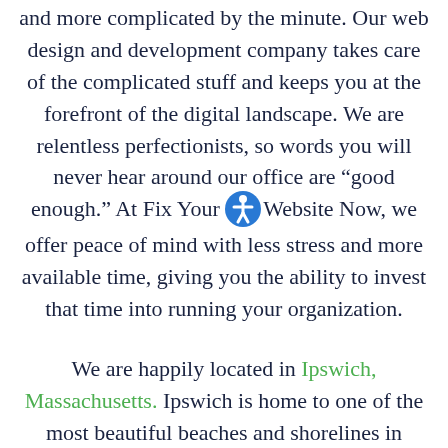and more complicated by the minute. Our web design and development company takes care of the complicated stuff and keeps you at the forefront of the digital landscape. We are relentless perfectionists, so words you will never hear around our office are “good enough.” At Fix Your Website Now, we offer peace of mind with less stress and more available time, giving you the ability to invest that time into running your organization.
We are happily located in Ipswich, Massachusetts. Ipswich is home to one of the most beautiful beaches and shorelines in